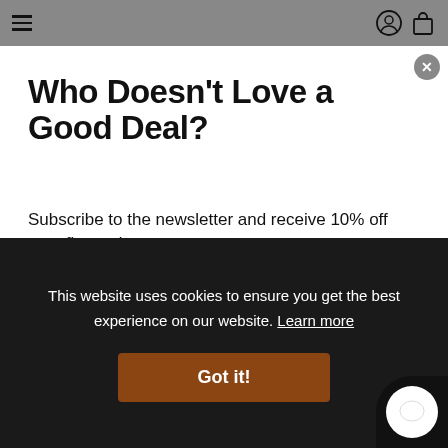Navigation bar with hamburger menu, user icon, and bag icon
Who Doesn't Love a Good Deal?
Subscribe to the newsletter and receive 10% off your first order.
Drop email here | Sign Up
This website uses cookies to ensure you get the best experience on our website. Learn more
Got it!